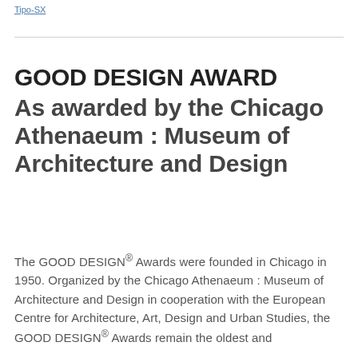Tipo-SX
GOOD DESIGN AWARD As awarded by the Chicago Athenaeum : Museum of Architecture and Design
The GOOD DESIGN® Awards were founded in Chicago in 1950. Organized by the Chicago Athenaeum : Museum of Architecture and Design in cooperation with the European Centre for Architecture, Art, Design and Urban Studies, the GOOD DESIGN® Awards remain the oldest and